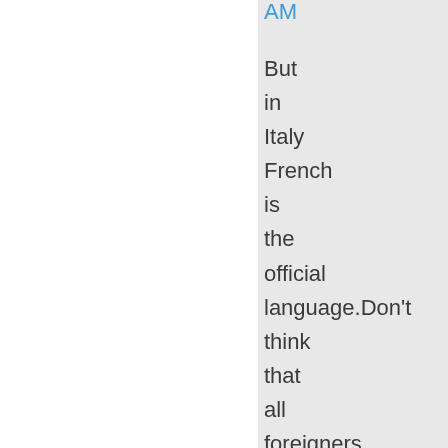AM
But in Italy French is the official language.Don't think that all foreigners are proficient in English.